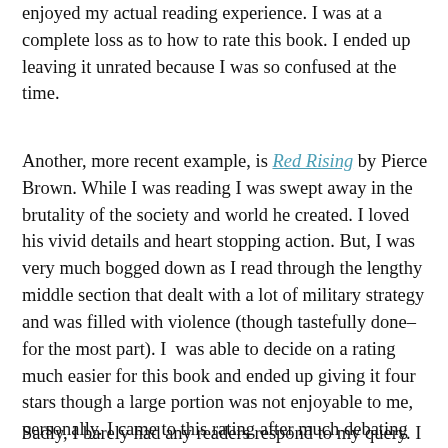enjoyed my actual reading experience. I was at a complete loss as to how to rate this book. I ended up leaving it unrated because I was so confused at the time.
Another, more recent example, is Red Rising by Pierce Brown. While I was reading I was swept away in the brutality of the society and world he created. I loved his vivid details and heart stopping action. But, I was very much bogged down as I read through the lengthy middle section that dealt with a lot of military strategy and was filled with violence (though tastefully done–for the most part). I was able to decide on a rating much easier for this book and ended up giving it four stars though a large portion was not enjoyable to me, personally. I came to this rating after much debating on my part. I felt it deserved it because of the amount of time I spent thinking of the story, that I never once considered DNFing and my curiosity of the next book. Also, I was very impressed with Brown's writing.
Sadly, I barely had any readers respond to my query. I was very